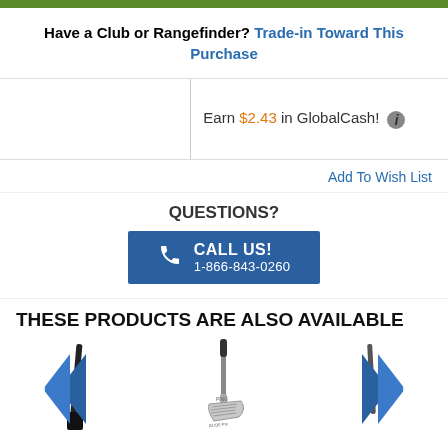Have a Club or Rangefinder? Trade-in Toward This Purchase
Earn $2.43 in GlobalCash!
Add To Wish List
QUESTIONS?
CALL US! 1-866-843-0260
THESE PRODUCTS ARE ALSO AVAILABLE
[Figure (photo): Golf club irons product image on left side with left navigation arrow, center Ping Glide Pro wedge silver product image, right partial product image with right navigation arrow]